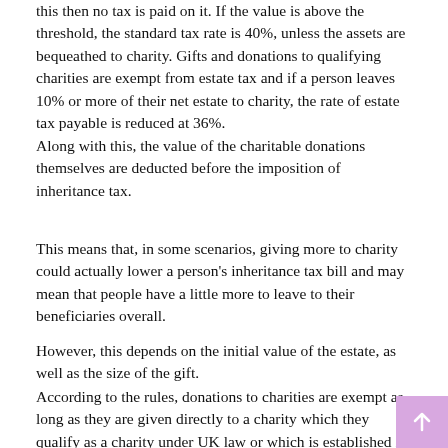this then no tax is paid on it. If the value is above the threshold, the standard tax rate is 40%, unless the assets are bequeathed to charity. Gifts and donations to qualifying charities are exempt from estate tax and if a person leaves 10% or more of their net estate to charity, the rate of estate tax payable is reduced at 36%. Along with this, the value of the charitable donations themselves are deducted before the imposition of inheritance tax.
This means that, in some scenarios, giving more to charity could actually lower a person's inheritance tax bill and may mean that people have a little more to leave to their beneficiaries overall.
However, this depends on the initial value of the estate, as well as the size of the gift.
According to the rules, donations to charities are exempt as long as they are given directly to a charity which they qualify as a charity under UK law or which is established in the EU or